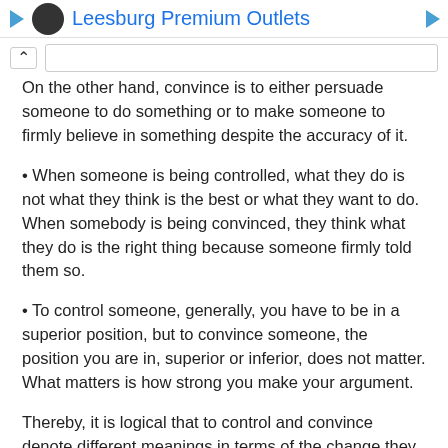Leesburg Premium Outlets
On the other hand, convince is to either persuade someone to do something or to make someone to firmly believe in something despite the accuracy of it.
• When someone is being controlled, what they do is not what they think is the best or what they want to do. When somebody is being convinced, they think what they do is the right thing because someone firmly told them so.
• To control someone, generally, you have to be in a superior position, but to convince someone, the position you are in, superior or inferior, does not matter. What matters is how strong you make your argument.
Thereby, it is logical that to control and convince denote different meanings in terms of the change they make or not make in the person who is controlled or convinced.